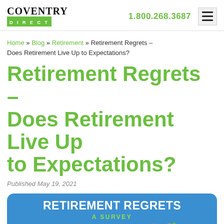COVENTRY DIRECT | 1.800.268.3687
Home » Blog » Retirement » Retirement Regrets – Does Retirement Live Up to Expectations?
Retirement Regrets – Does Retirement Live Up to Expectations?
Published May 19, 2021
[Figure (illustration): Infographic header image with blue rounded rectangle background. Text reads 'RETIREMENT REGRETS' in large bold white letters and 'A SURVEY' in green below. Four cartoon elderly figures of diverse ethnicities are shown at the bottom of the image.]